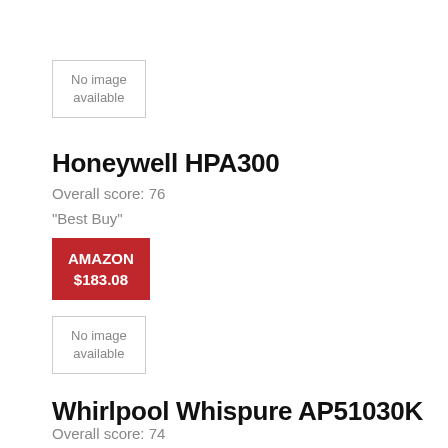[Figure (other): No image available placeholder box for Honeywell HPA300]
Honeywell HPA300
Overall score: 76
"Best Buy"
AMAZON
$183.08
[Figure (other): No image available placeholder box for Whirlpool Whispure AP51030K]
Whirlpool Whispure AP51030K
Overall score: 74
"Best Buy"